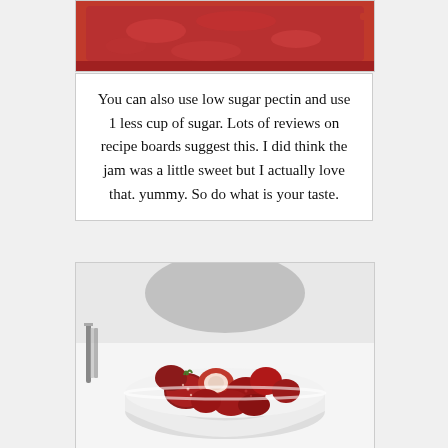[Figure (photo): Top portion of a pan with red strawberry jam cooking, red handles visible]
You can also use low sugar pectin and use 1 less cup of sugar. Lots of reviews on recipe boards suggest this. I did think the jam was a little sweet but I actually love that. yummy. So do what is your taste.
[Figure (photo): White bowl filled with fresh cut strawberries on a white tablecloth, with a knife and bowl visible in background]